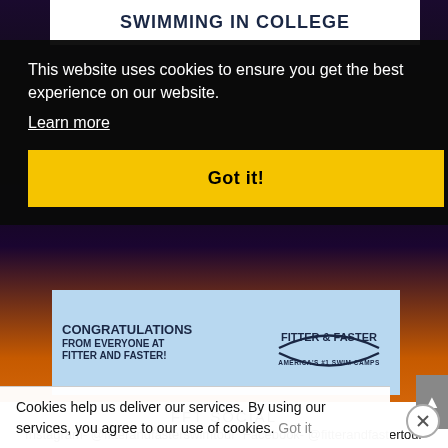[Figure (screenshot): Top white strip with bold dark blue text: SWIMMING IN COLLEGE]
This website uses cookies to ensure you get the best experience on our website.
Learn more
Got it!
[Figure (illustration): Congratulations banner from Fitter & Faster swim camps, with swimmer in pool. Text: CONGRATULATIONS FROM EVERYONE AT FITTER AND FASTER! FITTER & FASTER AMERICA'S #1 SWIM CAMPS]
FFT SOCIAL
Instagram- @fitterandfasterswimtour Facebook- @fitterandfastertour Chirp- @fitterandfaster
Cookies help us deliver our services. By using our services, you agree to our use of cookies. Got it